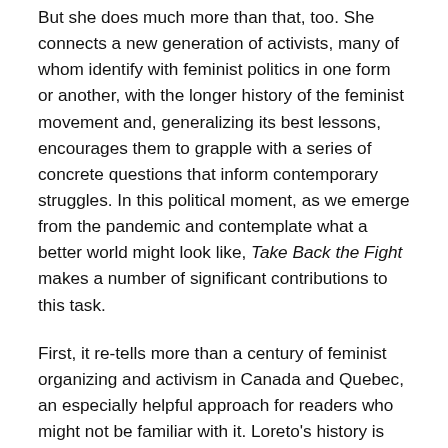But she does much more than that, too. She connects a new generation of activists, many of whom identify with feminist politics in one form or another, with the longer history of the feminist movement and, generalizing its best lessons, encourages them to grapple with a series of concrete questions that inform contemporary struggles. In this political moment, as we emerge from the pandemic and contemplate what a better world might look like, Take Back the Fight makes a number of significant contributions to this task.
First, it re-tells more than a century of feminist organizing and activism in Canada and Quebec, an especially helpful approach for readers who might not be familiar with it. Loreto's history is not meant to be exhaustive; it provides an accessible review of the key moments, struggles, victories, and defeats that help explain the state of feminist politics today. In this sense, Take Back the Fight is an indispensable resource for newly radicalizing readers. It pays tribute to the work of previous generations of